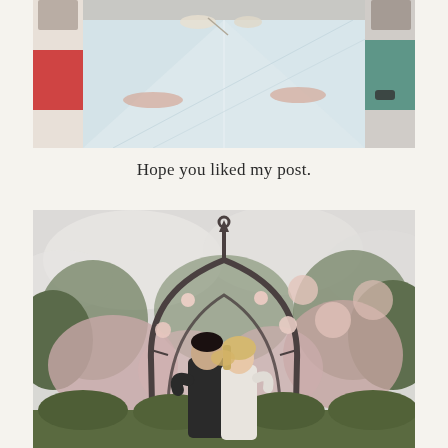[Figure (photo): Top-down view of a restaurant table with white tablecloth, glassware and cutlery, two people sitting across from each other, one wearing red, one wearing teal/green]
Hope you liked my post.
[Figure (photo): Couple embracing and kissing under a decorative wrought-iron arch in a garden full of blooming pink and white flowers and green trees, overcast sky in background]